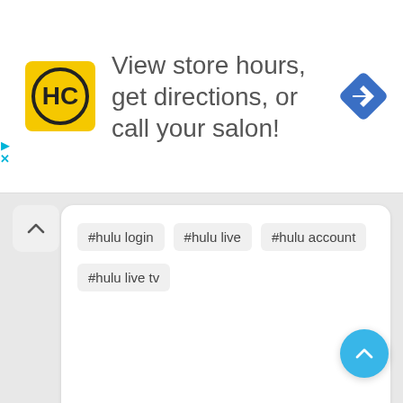[Figure (other): Advertisement banner with HC salon logo and navigation icon. Text: View store hours, get directions, or call your salon!]
#hulu login  #hulu live  #hulu account  #hulu live tv
Malware Scan Info
Macafee Check : Safe